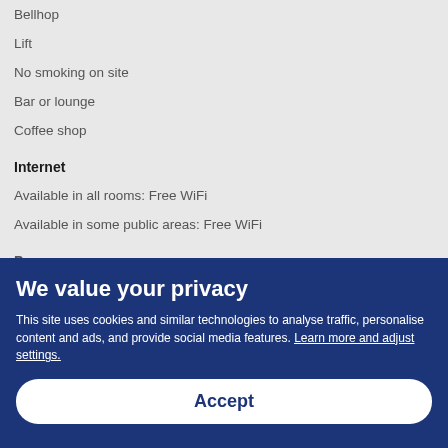Bellhop
Lift
No smoking on site
Bar or lounge
Coffee shop
Internet
Available in all rooms: Free WiFi
Available in some public areas: Free WiFi
Pa...
We value your privacy
This site uses cookies and similar technologies to analyse traffic, personalise content and ads, and provide social media features. Learn more and adjust settings.
Accept